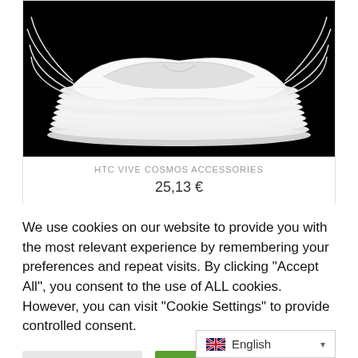[Figure (photo): Stack of white face masks/eye cushions on black background, product photo for HTC Vive Cosmos accessories]
HTC VIVE COSMOS ACCESSORIES
25,13 €
We use cookies on our website to provide you with the most relevant experience by remembering your preferences and repeat visits. By clicking "Accept All", you consent to the use of ALL cookies. However, you can visit "Cookie Settings" to provide controlled consent.
Cookie settings
accept all
English